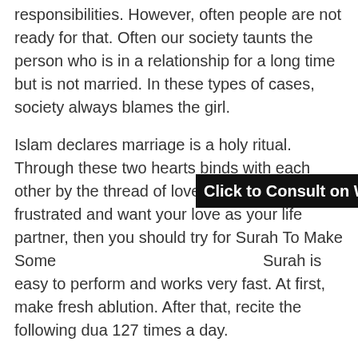responsibilities. However, often people are not ready for that. Often our society taunts the person who is in a relationship for a long time but is not married. In these types of cases, society always blames the girl.
Islam declares marriage is a holy ritual. Through these two hearts binds with each other by the thread of love and trust. If you are frustrated and want your love as your life partner, then you should try for Surah To Make Someone Marry You. This Quranic Surah is easy to perform and works very fast. At first, make fresh ablution. After that, recite the following dua 127 times a day.
[Figure (other): Black banner overlay with text 'Click to Consult on Whatsapp']
Barakallahu Laka Wa Baraka Alaika Wa Jama A Bainakuma Fii Khaireen
After that, recite Sura Al Mujammil chapter 73. You